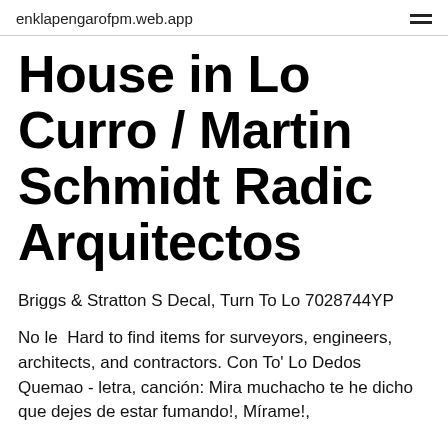enklapengarofpm.web.app
House in Lo Curro / Martin Schmidt Radic Arquitectos
Briggs & Stratton S Decal, Turn To Lo 7028744YP
No le  Hard to find items for surveyors, engineers, architects, and contractors. Con To' Lo Dedos Quemao - letra, canción: Mira muchacho te he dicho que dejes de estar fumando!, Mírame!,